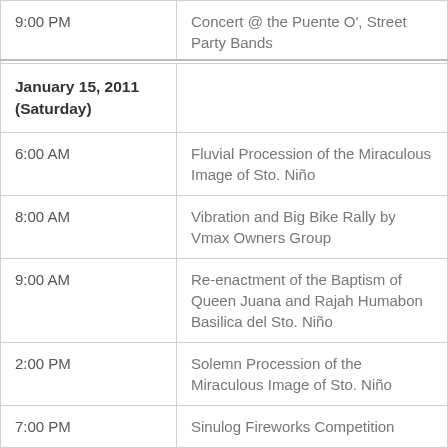| Time | Event |
| --- | --- |
| 9:00 PM | Concert @ the Puente O', Street Party Bands |
| January 15, 2011 (Saturday) |  |
| 6:00 AM | Fluvial Procession of the Miraculous Image of Sto. Niño |
| 8:00 AM | Vibration and Big Bike Rally by Vmax Owners Group |
| 9:00 AM | Re-enactment of the Baptism of Queen Juana and Rajah Humabon Basilica del Sto. Niño |
| 2:00 PM | Solemn Procession of the Miraculous Image of Sto. Niño |
| 7:00 PM | Sinulog Fireworks Competition |